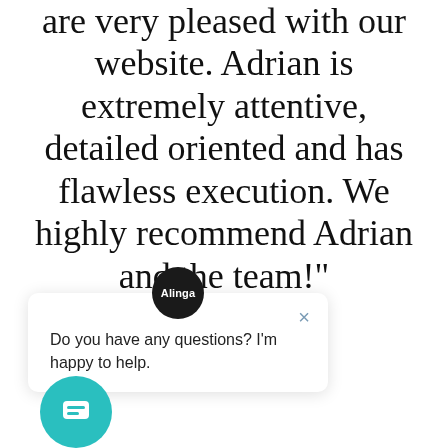are very pleased with our website. Adrian is extremely attentive, detailed oriented and has flawless execution. We highly recommend Adrian and the team!"
[Figure (screenshot): Chat widget popup with dark circular avatar labeled 'Alinga', a close (X) button, and message text: 'Do you have any questions? I'm happy to help.']
[Figure (illustration): Teal circular chat launcher button with a speech bubble icon]